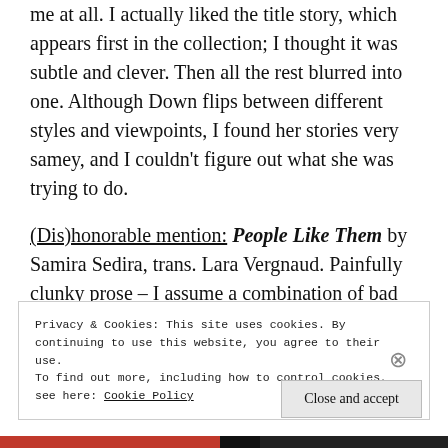me at all. I actually liked the title story, which appears first in the collection; I thought it was subtle and clever. Then all the rest blurred into one. Although Down flips between different styles and viewpoints, I found her stories very samey, and I couldn't figure out what she was trying to do.
(Dis)honorable mention: People Like Them by Samira Sedira, trans. Lara Vergnaud. Painfully clunky prose – I assume a combination of bad writing and bad translation – plus painfully obvious social
Privacy & Cookies: This site uses cookies. By continuing to use this website, you agree to their use.
To find out more, including how to control cookies, see here: Cookie Policy